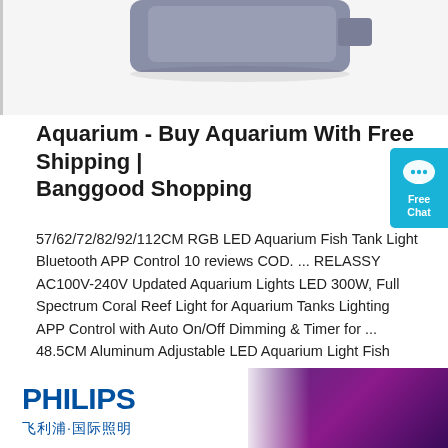[Figure (photo): Partial view of a product image (aquarium light) against white background with gray left border]
Aquarium - Buy Aquarium With Free Shipping | Banggood Shopping
57/62/72/82/92/112CM RGB LED Aquarium Fish Tank Light Bluetooth APP Control 10 reviews COD. ... RELASSY AC100V-240V Updated Aquarium Lights LED 300W, Full Spectrum Coral Reef Light for Aquarium Tanks Lighting APP Control with Auto On/Off Dimming & Timer for ... 48.5CM Aluminum Adjustable LED Aquarium Light Fish Tank Panel Lamp Blue+White AC220V ...
[Figure (other): Free Chat widget button with chat bubble icon, cyan/teal background]
Get Price
[Figure (logo): Philips logo with Chinese text 飞利浦·国际照明 on white background, partial purple/dark banner visible]